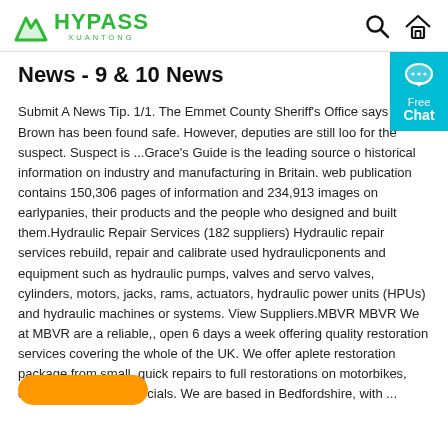HYPASS XUANTONG — logo with search and home icons
News - 9 & 10 News
Submit A News Tip. 1/1. The Emmet County Sheriff's Office says Emily Brown has been found safe. However, deputies are still loo for the suspect. Suspect is ...Grace's Guide is the leading source o historical information on industry and manufacturing in Britain. web publication contains 150,306 pages of information and 234,913 images on earlypanies, their products and the people who designed and built them.Hydraulic Repair Services (182 suppliers) Hydraulic repair services rebuild, repair and calibrate used hydraulicponents and equipment such as hydraulic pumps, valves and servo valves, cylinders, motors, jacks, rams, actuators, hydraulic power units (HPUs) and hydraulic machines or systems. View Suppliers.MBVR MBVR We at MBVR are a reliable,, open 6 days a week offering quality restoration services covering the whole of the UK. We offer aplete restoration package from small, quick repairs to full restorations on motorbikes, cars & classic lightmercials. We are based in Bedfordshire, with ...